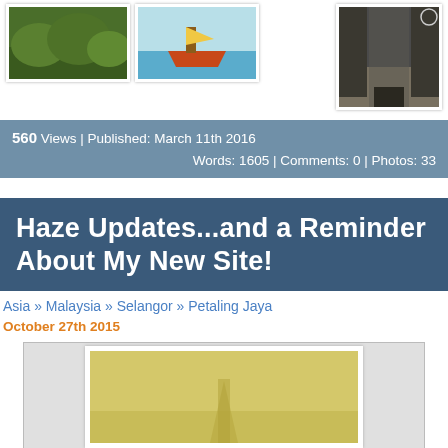[Figure (photo): Three thumbnail photos at the top: greenery/jungle, a boat on water, and a street scene]
560 Views | Published: March 11th 2016
Words: 1605 | Comments: 0 | Photos: 33
Haze Updates...and a Reminder About My New Site!
Asia » Malaysia » Selangor » Petaling Jaya
October 27th 2015
[Figure (photo): A hazy yellow-tinted photo, appears to show a structure obscured by haze]